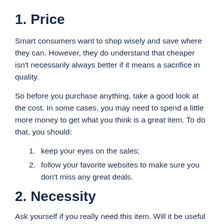1. Price
Smart consumers want to shop wisely and save where they can. However, they do understand that cheaper isn't necessarily always better if it means a sacrifice in quality.
So before you purchase anything, take a good look at the cost. In some cases, you may need to spend a little more money to get what you think is a great item. To do that, you should:
keep your eyes on the sales;
follow your favorite websites to make sure you don't miss any great deals.
2. Necessity
Ask yourself if you really need this item. Will it be useful in your life? Sometimes we just want to